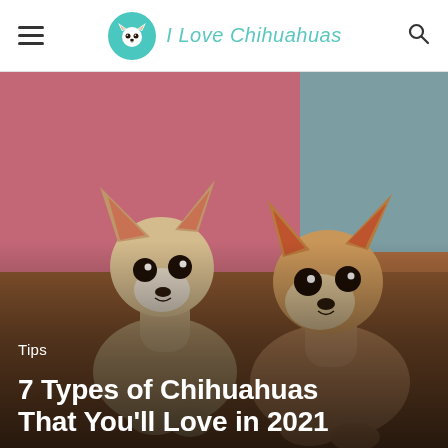I Love Chihuahuas
[Figure (photo): Two Chihuahua dogs posed side by side against a blurred pink and blue background. The dogs are tan and white in color, with large eyes and pointed ears. One dog is slightly taller and leaning toward the other.]
Tips
7 Types of Chihuahuas That You'll Love in 2021